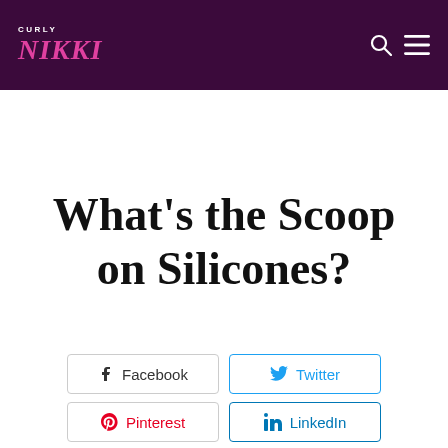CURLY NIKKI
What’s the Scoop on Silicones?
Facebook  Twitter  Pinterest  LinkedIn